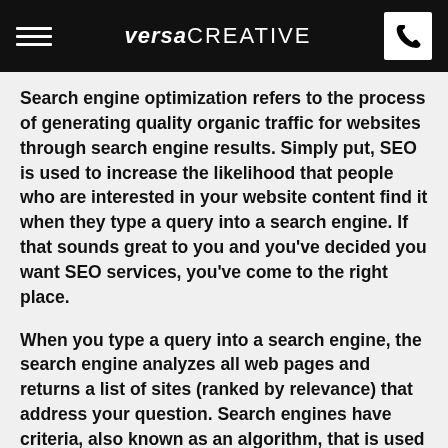versa CREATIVE
Search engine optimization refers to the process of generating quality organic traffic for websites through search engine results. Simply put, SEO is used to increase the likelihood that people who are interested in your website content find it when they type a query into a search engine. If that sounds great to you and you’ve decided you want SEO services, you’ve come to the right place.
When you type a query into a search engine, the search engine analyzes all web pages and returns a list of sites (ranked by relevance) that address your question. Search engines have criteria, also known as an algorithm, that is used to select which pages appear in the results. That’s where SEO comes into play. Our job